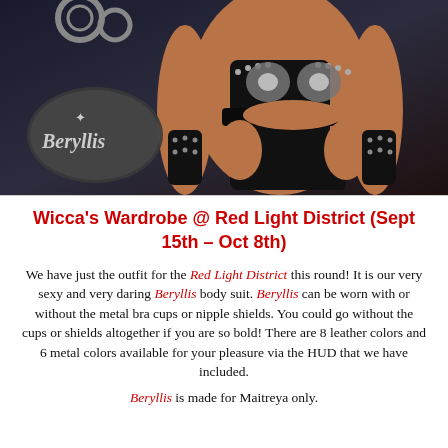[Figure (photo): Photo of a virtual/3D avatar wearing the Beryllis body suit — a black leather studded outfit with metal bra cups and arm cuffs. The Beryllis brand logo badge is visible in the lower left of the image. The background is dark.]
Wicca's Wardrobe @ Red Light District (Sept 15th – Oct 8th)
We have just the outfit for the Red Light District this round! It is our very sexy and very daring Beryllis body suit. Beryllis can be worn with or without the metal bra cups or nipple shields. You could go without the cups or shields altogether if you are so bold! There are 8 leather colors and 6 metal colors available for your pleasure via the HUD that we have included.
Beryllis is made for Maitreya only.